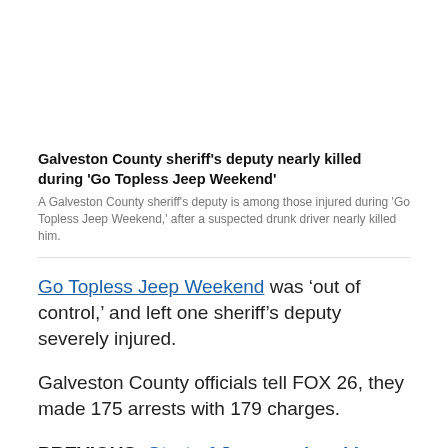Galveston County sheriff's deputy nearly killed during 'Go Topless Jeep Weekend'
A Galveston County sheriff's deputy is among those injured during 'Go Topless Jeep Weekend,' after a suspected drunk driver nearly killed him.
Go Topless Jeep Weekend was ‘out of control,’ and left one sheriff’s deputy severely injured.
Galveston County officials tell FOX 26, they made 175 arrests with 179 charges.
PREVIOUS: Start of Jeep weekend in Galveston area has hundreds ready to ‘go topless’